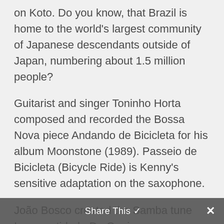on Koto. Do you know, that Brazil is home to the world's largest community of Japanese descendants outside of Japan, numbering about 1.5 million people?
Guitarist and singer Toninho Horta composed and recorded the Bossa Nova piece Andando de Bicicleta for his album Moonstone (1989). Passeio de Bicicleta (Bicycle Ride) is Kenny's sensitive adaptation on the saxophone.
João Bosco created the Samba tune Incompatidade De Genios (Incompatib...uses) in 1977. On his composition K...
Share This ✓ ✗